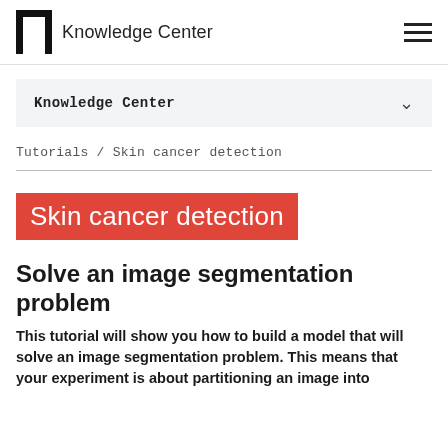Knowledge Center
Knowledge Center
Tutorials / Skin cancer detection
Skin cancer detection
Solve an image segmentation problem
This tutorial will show you how to build a model that will solve an image segmentation problem. This means that your experiment is about partitioning an image into